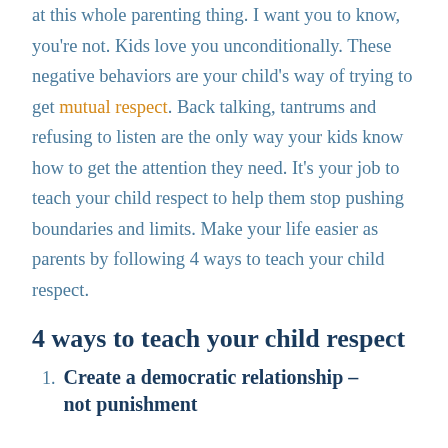at this whole parenting thing. I want you to know, you're not. Kids love you unconditionally. These negative behaviors are your child's way of trying to get mutual respect. Back talking, tantrums and refusing to listen are the only way your kids know how to get the attention they need. It's your job to teach your child respect to help them stop pushing boundaries and limits. Make your life easier as parents by following 4 ways to teach your child respect.
4 ways to teach your child respect
Create a democratic relationship – not punishment